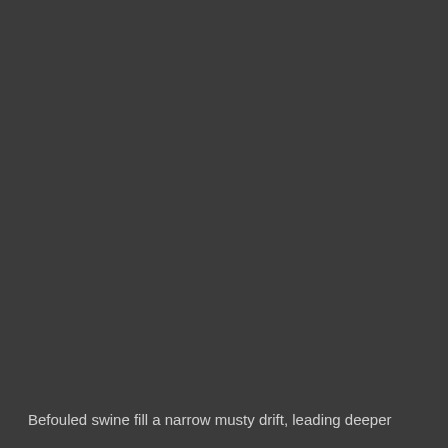Befouled swine fill a narrow musty drift, leading deeper